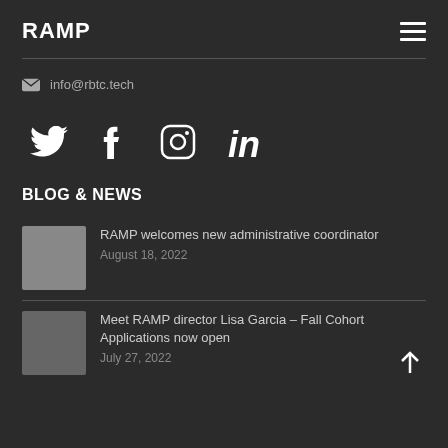RAMP
info@rbtc.tech
[Figure (infographic): Social media icons: Twitter, Facebook, Instagram, LinkedIn]
BLOG & NEWS
RAMP welcomes new administrative coordinator — August 18, 2022
Meet RAMP director Lisa Garcia – Fall Cohort Applications now open — July 27, 2022